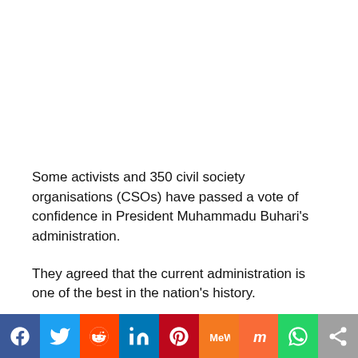Some activists and 350 civil society organisations (CSOs) have passed a vote of confidence in President Muhammadu Buhari's administration.
They agreed that the current administration is one of the best in the nation's history.
President of Coalition of Civil Societies and Media Executives for Good Governance in Nigeria, Omoba Kenneth Aigbegbele,
[Figure (other): Social media share buttons bar at the bottom: Facebook, Twitter, Reddit, LinkedIn, Pinterest, MeWe, Mix, WhatsApp, More]